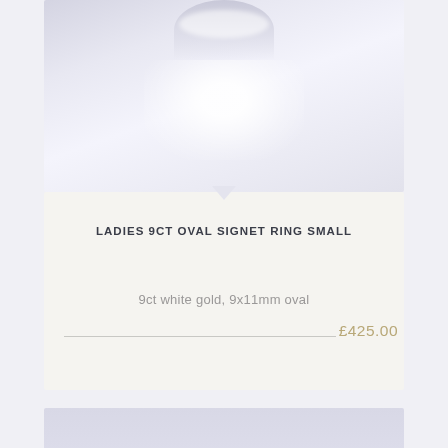[Figure (photo): Product photo of a ladies 9ct oval signet ring small in white gold, shown against a light lavender/white background with soft lighting.]
LADIES 9CT OVAL SIGNET RING SMALL
9ct white gold, 9x11mm oval
£425.00
[Figure (photo): Partial view of another product photo below, lavender/grey background visible.]